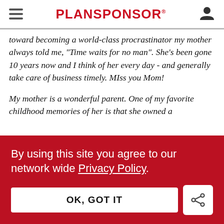PLANSPONSOR
toward becoming a world-class procrastinator my mother always told me, "Time waits for no man". She's been gone 10 years now and I think of her every day - and generally take care of business timely. MIss you Mom!
My mother is a wonderful parent. One of my favorite childhood memories of her is that she owned a
By using this site you agree to our network wide Privacy Policy.
OK, GOT IT